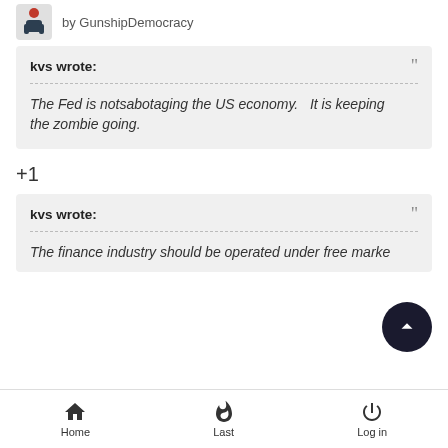by GunshipDemocracy
kvs wrote:

The Fed is notsabotaging the US economy.   It is keeping the zombie going.
+1
kvs wrote:

The finance industry should be operated under free market
Home   Last   Log in